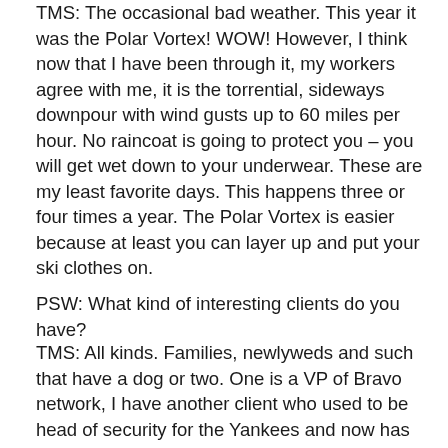TMS: The occasional bad weather. This year it was the Polar Vortex! WOW! However, I think now that I have been through it, my workers agree with me, it is the torrential, sideways downpour with wind gusts up to 60 miles per hour. No raincoat is going to protect you – you will get wet down to your underwear. These are my least favorite days. This happens three or four times a year. The Polar Vortex is easier because at least you can layer up and put your ski clothes on.
PSW: What kind of interesting clients do you have?
TMS: All kinds. Families, newlyweds and such that have a dog or two. One is a VP of Bravo network, I have another client who used to be head of security for the Yankees and now has his own security company and a gentleman who has his own construction company. I have quite a few